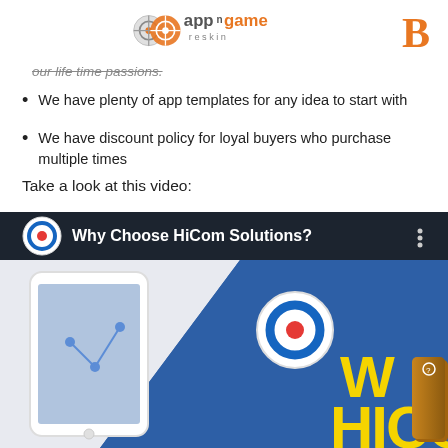appngame reskin [logo] B
our life time passions.
We have plenty of app templates for any idea to start with
We have discount policy for loyal buyers who purchase multiple times
Take a look at this video:
[Figure (screenshot): Video thumbnail showing 'Why Choose HiCom Solutions?' with HiCom logo, a smartphone displaying a map, blue background with yellow text 'HICC' partially visible, and a Help & Support tab on the right edge.]